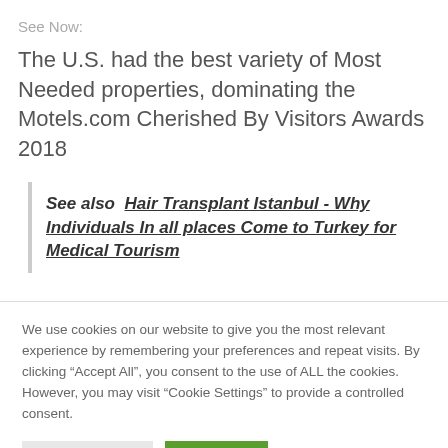See Now:
The U.S. had the best variety of Most Needed properties, dominating the Motels.com Cherished By Visitors Awards 2018
See also  Hair Transplant Istanbul - Why Individuals In all places Come to Turkey for Medical Tourism
We use cookies on our website to give you the most relevant experience by remembering your preferences and repeat visits. By clicking “Accept All”, you consent to the use of ALL the cookies. However, you may visit “Cookie Settings” to provide a controlled consent.